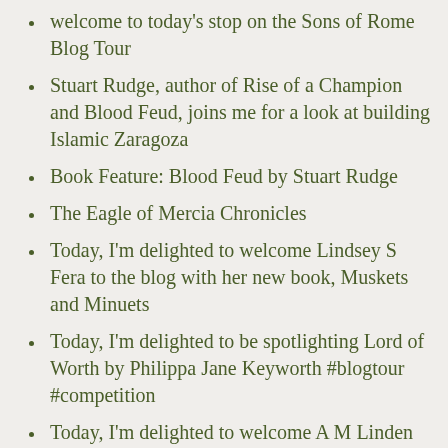welcome to today's stop on the Sons of Rome Blog Tour
Stuart Rudge, author of Rise of a Champion and Blood Feud, joins me for a look at building Islamic Zaragoza
Book Feature: Blood Feud by Stuart Rudge
The Eagle of Mercia Chronicles
Today, I'm delighted to welcome Lindsey S Fera to the blog with her new book, Muskets and Minuets
Today, I'm delighted to be spotlighting Lord of Worth by Philippa Jane Keyworth #blogtour #competition
Today, I'm delighted to welcome A M Linden and her new book, The Oath, to the blog with a post about what inspired her to write the book #BlogTour